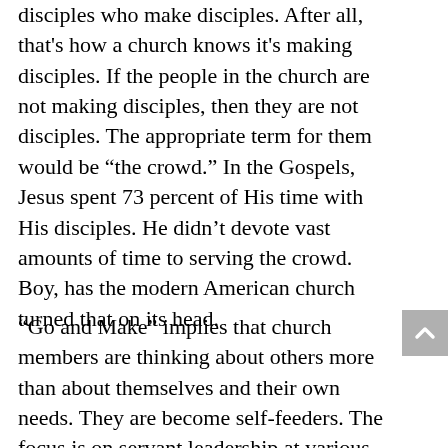disciples who make disciples. After all, that's how a church knows it's making disciples. If the people in the church are not making disciples, then they are not disciples. The appropriate term for them would be “the crowd.” In the Gospels, Jesus spent 73 percent of His time with His disciples. He didn’t devote vast amounts of time to serving the crowd. Boy, has the modern American church turned that on its head.
“Go and Make” implies that church members are thinking about others more than about themselves and their own needs. They are become self-feeders. The focus is on servant leadership at various levels. While most people in the church will not have the title of leader, they do have influence on some...